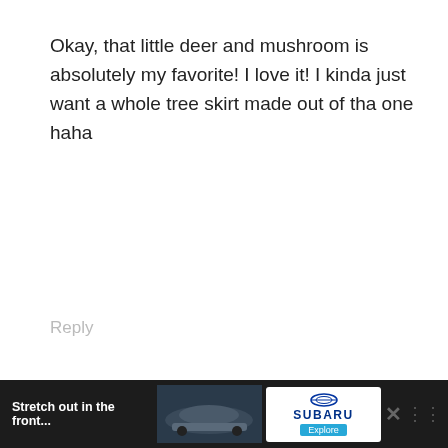Okay, that little deer and mushroom is absolutely my favorite! I love it! I kinda just want a whole tree skirt made out of tha one haha
Reply
[Figure (photo): Profile photo of a blonde woman]
3littlegreenwoods says
December 23, 2014 at 9:37 am
10
1
WHAT'S NEXT → DIY Snowflake Plate Charg...
I know! I love the little deer and mushroom ornament. I need a whole
Stretch out in the front...